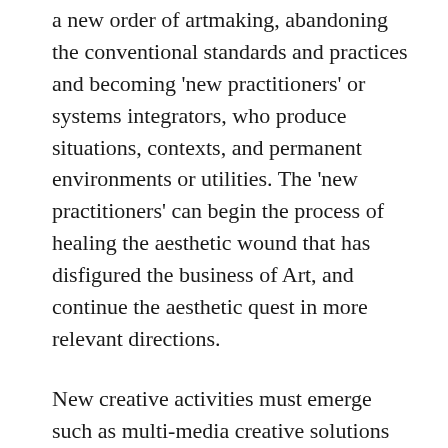a new order of artmaking, abandoning the conventional standards and practices and becoming 'new practitioners' or systems integrators, who produce situations, contexts, and permanent environments or utilities. The 'new practitioners' can begin the process of healing the aesthetic wound that has disfigured the business of Art, and continue the aesthetic quest in more relevant directions.
New creative activities must emerge such as multi-media creative solutions networks, not simply computer networks for Artists, but rather multi-media telecommunications networks with agendas that can engage multi-disciplinary constituencies.
[…]